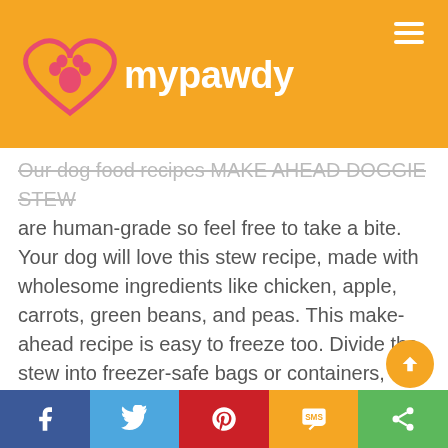mypawdy
Our dog food recipes MAKE AHEAD DOGGIE STEW are human-grade so feel free to take a bite. Your dog will love this stew recipe, made with wholesome ingredients like chicken, apple, carrots, green beans, and peas. This make-ahead recipe is easy to freeze too. Divide the stew into freezer-safe bags or containers, defrost in the fridge, and serve. Make-Ahead Dog Food is made with protein-rich ingredients. This recipe includes both chicken and organ meat. Look for chicken that's on sale and freeze it for another time, rather than for immediate use.